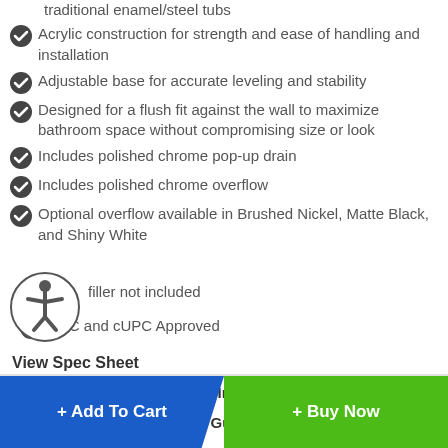traditional enamel/steel tubs
Acrylic construction for strength and ease of handling and installation
Adjustable base for accurate leveling and stability
Designed for a flush fit against the wall to maximize bathroom space without compromising size or look
Includes polished chrome pop-up drain
Includes polished chrome overflow
Optional overflow available in Brushed Nickel, Matte Black, and Shiny White
filler not included
UPC and cUPC Approved
View Spec Sheet
Flat-Sided Freestanding Tub Installation Guide
Taron Tub Filler Installation Guide